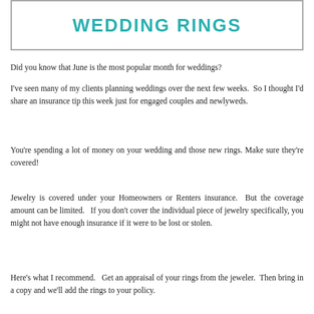WEDDING RINGS
Did you know that June is the most popular month for weddings?
I've seen many of my clients planning weddings over the next few weeks.  So I thought I'd share an insurance tip this week just for engaged couples and newlyweds.
You're spending a lot of money on your wedding and those new rings.  Make sure they're covered!
Jewelry is covered under your Homeowners or Renters insurance.  But the coverage amount can be limited.   If you don't cover the individual piece of jewelry specifically, you might not have enough insurance if it were to be lost or stolen.
Here's what I recommend.   Get an appraisal of your rings from the jeweler.  Then bring in a copy and we'll add the rings to your policy.